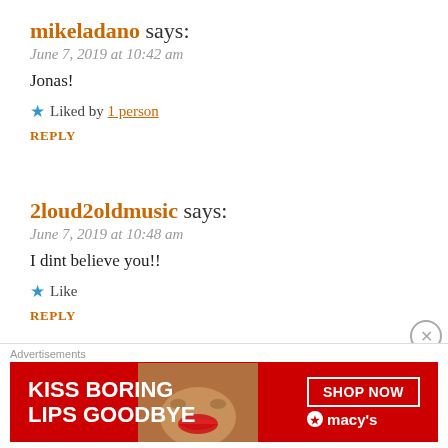mikeladano says:
June 7, 2019 at 10:42 am
Jonas!
★ Liked by 1 person
REPLY
2loud2oldmusic says:
June 7, 2019 at 10:48 am
I dint believe you!!
★ Like
REPLY
2loud2oldmusic says:
[Figure (photo): Advertisement banner for Macy's lipstick featuring 'KISS BORING LIPS GOODBYE' text with a woman's face and lips, with a 'SHOP NOW' button and Macy's star logo.]